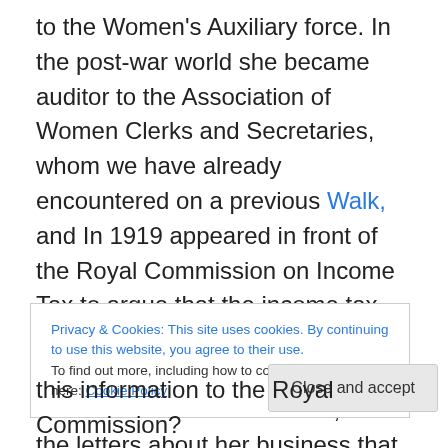to the Women's Auxiliary force. In the post-war world she became auditor to the Association of Women Clerks and Secretaries, whom we have already encountered on a previous Walk, and In 1919 appeared in front of the Royal Commission on Income Tax to argue that the income tax system was not fair in its treatment of married women. She apparently told the Commissioners that, as the letters about her business that the tax authorities sent to Hampden House were addressed to her husband, they remained unopened as he did not visit the premises. She was reported as saying that 'I have never yet made a
Privacy & Cookies: This site uses cookies. By continuing to use this website, you agree to their use. To find out more, including how to control cookies, see here: Cookie Policy
Close and accept
this information to the Royal Commission?